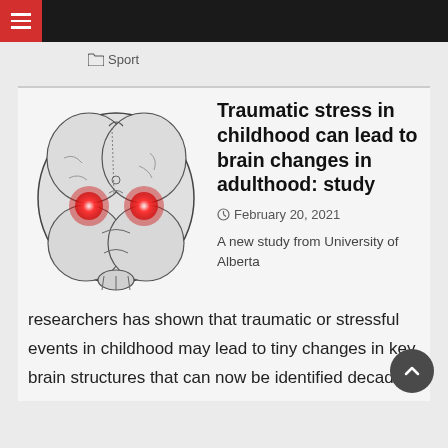Sport
[Figure (illustration): Top-down anatomical illustration of a human brain (coronal/axial view) in gray tones with two red highlighted amygdala regions glowing on the left and right sides]
Traumatic stress in childhood can lead to brain changes in adulthood: study
February 20, 2021
A new study from University of Alberta researchers has shown that traumatic or stressful events in childhood may lead to tiny changes in key brain structures that can now be identified decades